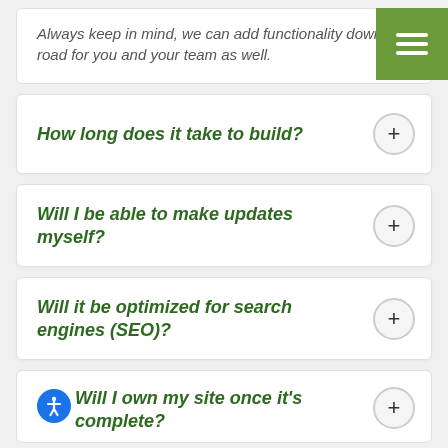Always keep in mind, we can add functionality down the road for you and your team as well.
How long does it take to build?
Will I be able to make updates myself?
Will it be optimized for search engines (SEO)?
Will I own my site once it's complete?